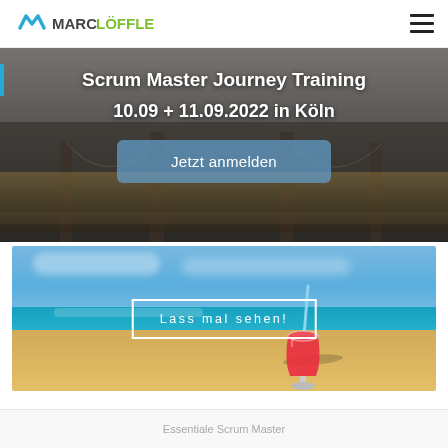[Figure (logo): Marc Löffler logo with stylized M wave icon in blue-green and text MARC LÖFFLER]
[Figure (screenshot): Hero banner with bridge background (Cologne cathedral bridge), dark overlay, showing training event info and registration button]
Scrum Master Journey Training
10.09 + 11.09.2022 in Köln
Jetzt anmelden
[Figure (photo): Beach photo with tropical red cocktail drink, turquoise ocean water and sandy shore, with text overlay 'Lass mal sehen!']
Lass mal sehen!
Essentiale Scrum Master